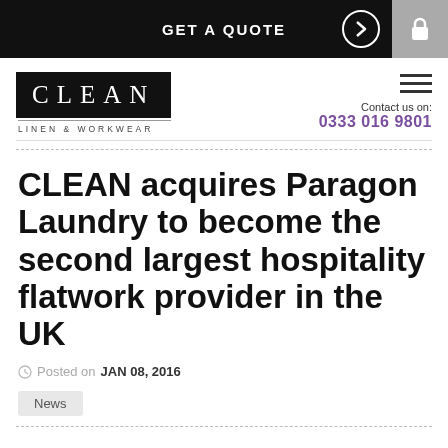GET A QUOTE
[Figure (logo): CLEAN Linen & Workwear logo — white text on black background with tagline LINEN & WORKWEAR below]
Contact us on: 0333 016 9801
CLEAN acquires Paragon Laundry to become the second largest hospitality flatwork provider in the UK
Posted on JAN 08, 2016
News